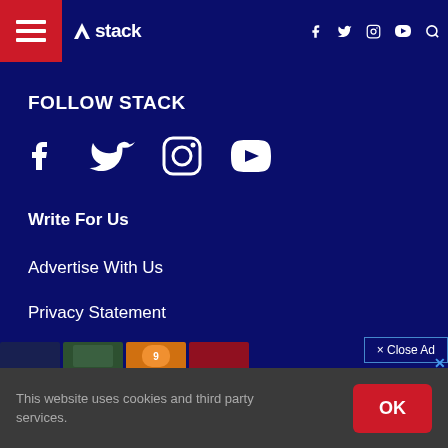Stack — navigation bar with hamburger menu, Stack logo, social icons (f, twitter, instagram, youtube), search
FOLLOW STACK
[Figure (infographic): Social media icons row: Facebook, Twitter, Instagram, YouTube]
Write For Us
Advertise With Us
Privacy Statement
Terms of Service
[Figure (infographic): Close Ad button and advertisement thumbnails]
This website uses cookies and third party services.